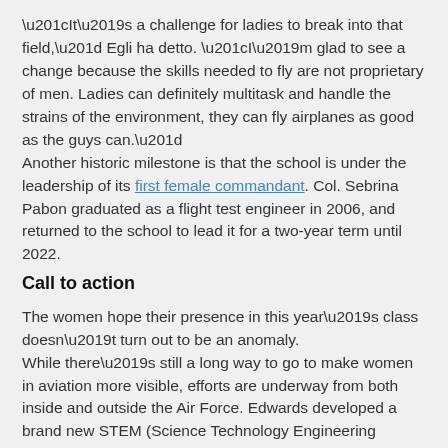“It’s a challenge for ladies to break into that field,” Egli ha detto. “I’m glad to see a change because the skills needed to fly are not proprietary of men. Ladies can definitely multitask and handle the strains of the environment, they can fly airplanes as good as the guys can.” Another historic milestone is that the school is under the leadership of its first female commandant. Col. Sebrina Pabon graduated as a flight test engineer in 2006, and returned to the school to lead it for a two-year term until 2022.
Call to action
The women hope their presence in this year’s class doesn’t turn out to be an anomaly. While there’s still a long way to go to make women in aviation more visible, efforts are underway from both inside and outside the Air Force. Edwards developed a brand new STEM (Science Technology Engineering Mathematics) program that educates youth at local schools about flying — seeking to expose them to the world of aviation and inspire